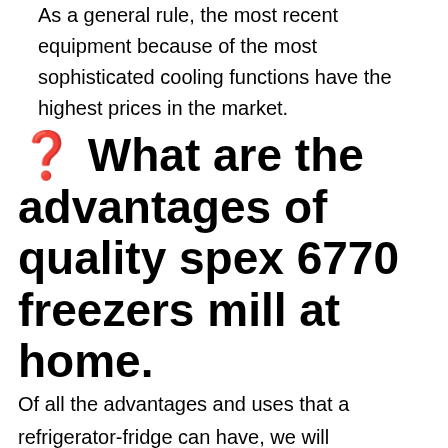As a general rule, the most recent equipment because of the most sophisticated cooling functions have the highest prices in the market.
❓ What are the advantages of quality spex 6770 freezers mill at home.
Of all the advantages and uses that a refrigerator-fridge can have, we will